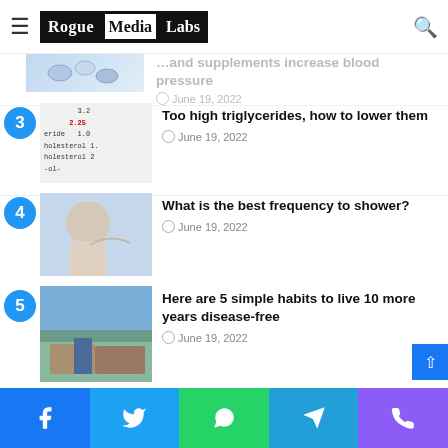Rogue Media Labs
[Figure (photo): Partial article thumbnail at top – pills/medication photo (blue/white pills)]
...and supplements increase blood pressure
June 19, 2022
3 – Too high triglycerides, how to lower them – June 19, 2022
4 – What is the best frequency to shower? – June 19, 2022
5 – Here are 5 simple habits to live 10 more years disease-free – June 19, 2022
Facebook, Twitter, WhatsApp, Telegram, Phone social share bar